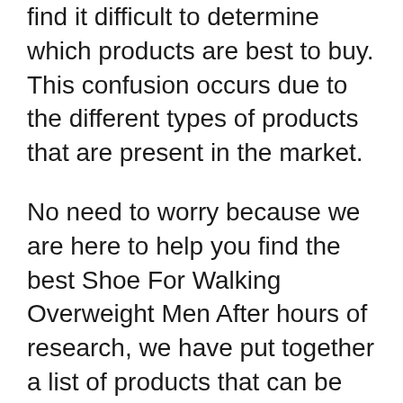find it difficult to determine which products are best to buy. This confusion occurs due to the different types of products that are present in the market.
No need to worry because we are here to help you find the best Shoe For Walking Overweight Men After hours of research, we have put together a list of products that can be just what you need. We have also included a buying guide and answered some questions to clear any doubts you may have.